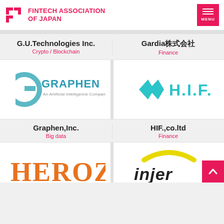FINTECH ASSOCIATION OF JAPAN
G.U.Technologies Inc.
Crypto / Blockchain
Gardia株式会社
Finance
[Figure (logo): Graphen Inc. logo - circular G icon with teal/blue gradient and GRAPHEN text, An Artificial Intelligence Company]
[Figure (logo): H.I.F. logo - two teal diamond shapes and H.I.F. text in teal]
Graphen,Inc.
Big data
HIF.,co.ltd
Finance
[Figure (logo): HEROZ logo - orange serif capital letters HEROZ]
[Figure (logo): Injer logo - yellow arc/U shape with Injer text in dark italic font]